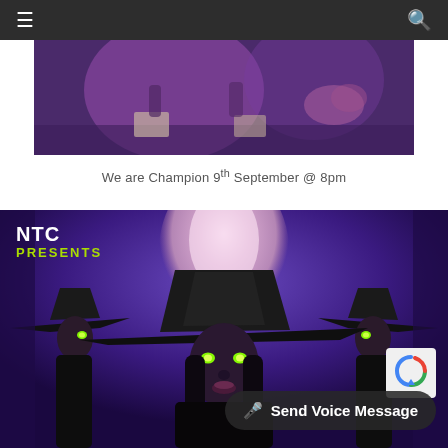Navigation bar with menu and search icons
[Figure (photo): Concert/performance stage photo with purple lighting, musicians on stage with drums visible in background]
We are Champion 9th September @ 8pm
[Figure (illustration): NTC Presents graphic: animated witch figures with large brimmed hats and glowing green eyes against a purple background with moon glow, with text 'NTC PRESENTS' in white and yellow-green]
Send Voice Message